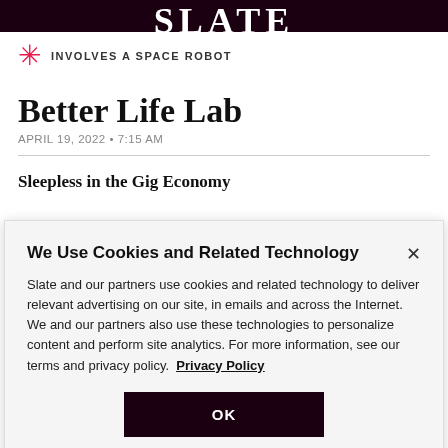SLATE
INVOLVES A SPACE ROBOT
Better Life Lab
APRIL 19, 2022 • 7:15 AM
Sleepless in the Gig Economy
We Use Cookies and Related Technology
Slate and our partners use cookies and related technology to deliver relevant advertising on our site, in emails and across the Internet. We and our partners also use these technologies to personalize content and perform site analytics. For more information, see our terms and privacy policy. Privacy Policy
OK